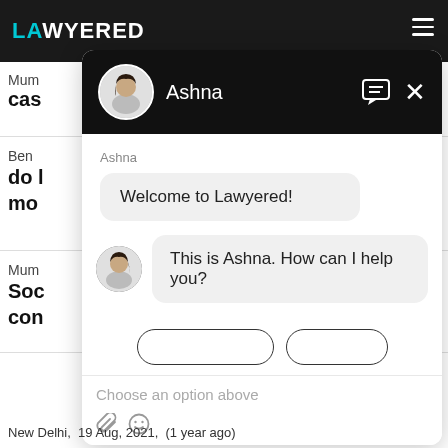[Figure (screenshot): Lawyered website chat widget screenshot showing a chat interface with agent 'Ashna'. The chat header is dark/black with the agent's avatar and name. The chat body shows two messages: 'Welcome to Lawyered!' and 'This is Ashna. How can I help you?' with quick reply buttons and an input area with placeholder 'Choose an option above'.]
New Delhi,  19 Aug, 2021,  (1 year ago)